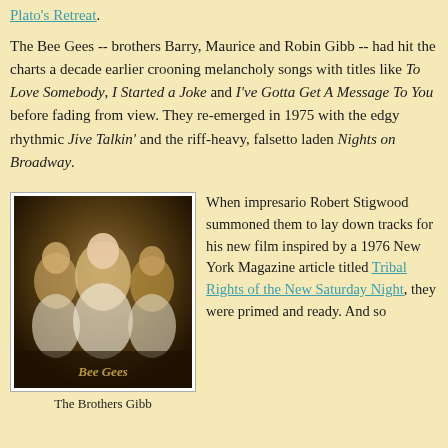Plato's Retreat.
The Bee Gees -- brothers Barry, Maurice and Robin Gibb -- had hit the charts a decade earlier crooning melancholy songs with titles like To Love Somebody, I Started a Joke and I've Gotta Get A Message To You before fading from view. They re-emerged in 1975 with the edgy rhythmic Jive Talkin' and the riff-heavy, falsetto laden Nights on Broadway.
[Figure (photo): Black and white promotional photo of the Bee Gees (The Brothers Gibb) — three men in white shirts posing together]
The Brothers Gibb
When impresario Robert Stigwood summoned them to lay down tracks for his new film inspired by a 1976 New York Magazine article titled Tribal Rights of the New Saturday Night, they were primed and ready. And so